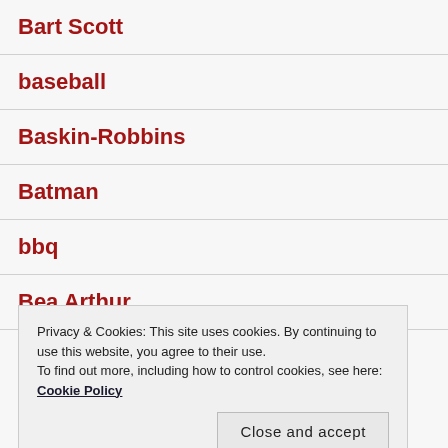Bart Scott
baseball
Baskin-Robbins
Batman
bbq
Bea Arthur
Privacy & Cookies: This site uses cookies. By continuing to use this website, you agree to their use. To find out more, including how to control cookies, see here: Cookie Policy
Close and accept
bee